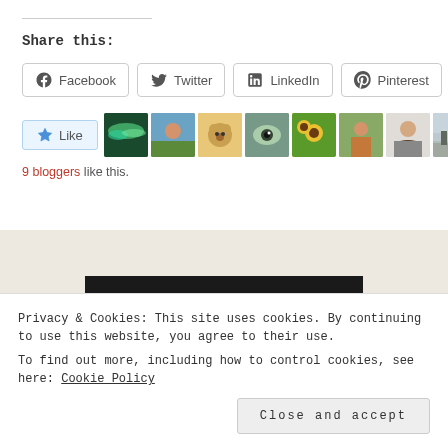Share this:
Facebook  Twitter  LinkedIn  Pinterest
[Figure (screenshot): Like button with star icon and 9 blogger avatar thumbnails]
9 bloggers like this.
OLDER POSTS
Privacy & Cookies: This site uses cookies. By continuing to use this website, you agree to their use.
To find out more, including how to control cookies, see here: Cookie Policy
Close and accept